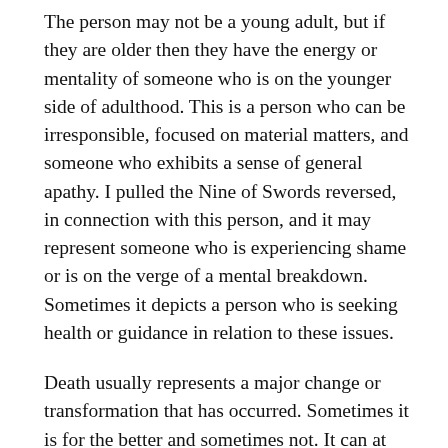The person may not be a young adult, but if they are older then they have the energy or mentality of someone who is on the younger side of adulthood. This is a person who can be irresponsible, focused on material matters, and someone who exhibits a sense of general apathy. I pulled the Nine of Swords reversed, in connection with this person, and it may represent someone who is experiencing shame or is on the verge of a mental breakdown. Sometimes it depicts a person who is seeking health or guidance in relation to these issues.
Death usually represents a major change or transformation that has occurred. Sometimes it is for the better and sometimes not. It can at